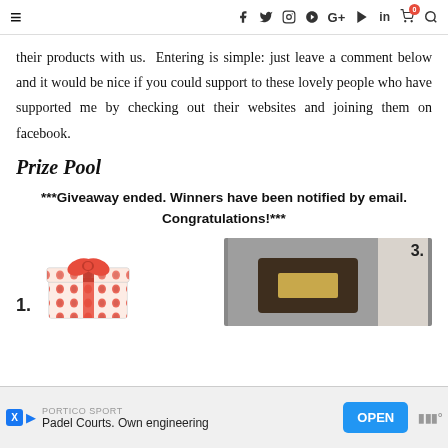≡  f  🐦  📷  P  G+  ▶  in  🛒⁰  🔍
their products with us.  Entering is simple: just leave a comment below and it would be nice if you could support to these lovely people who have supported me by checking out their websites and joining them on facebook.
Prize Pool
***Giveaway ended. Winners have been notified by email. Congratulations!***
1.
[Figure (photo): Wrapped gift box with red bow and strawberry pattern paper]
[Figure (photo): Dark colored object (possibly a chocolate or product) on light background, labeled 3.]
[Figure (other): Advertisement banner: PORTICO SPORT - Padel Courts. Own engineering - OPEN button]